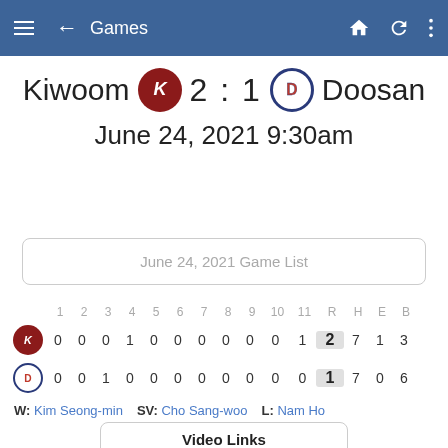Games
Kiwoom 2 : 1 Doosan — June 24, 2021 9:30am
June 24, 2021 Game List
|  | 1 | 2 | 3 | 4 | 5 | 6 | 7 | 8 | 9 | 10 | 11 | R | H | E | B |
| --- | --- | --- | --- | --- | --- | --- | --- | --- | --- | --- | --- | --- | --- | --- | --- |
| Kiwoom | 0 | 0 | 0 | 1 | 0 | 0 | 0 | 0 | 0 | 0 | 1 | 2 | 7 | 1 | 3 |
| Doosan | 0 | 0 | 1 | 0 | 0 | 0 | 0 | 0 | 0 | 0 | 0 | 1 | 7 | 0 | 6 |
W: Kim Seong-min   SV: Cho Sang-woo   L: Nam Ho
Video Links
Watch Highlights